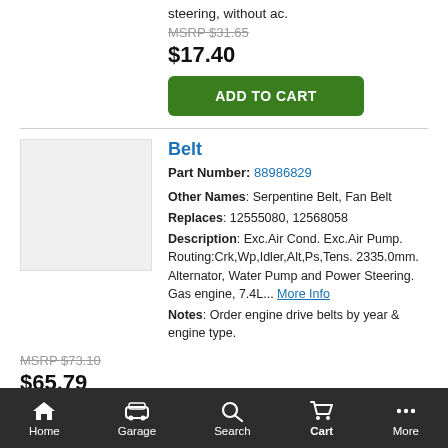steering, without ac.
MSRP $31.65
$17.40
ADD TO CART
Belt
Part Number: 88986829
Other Names: Serpentine Belt, Fan Belt
Replaces: 12555080, 12568058
Description: Exc.Air Cond. Exc.Air Pump. Routing:Crk,Wp,Idler,Alt,Ps,Tens. 2335.0mm. Alternator, Water Pump and Power Steering. Gas engine, 7.4L... More Info
Notes: Order engine drive belts by year & engine type.
MSRP $73.10
$65.79
Home  Garage  Search  Cart  More